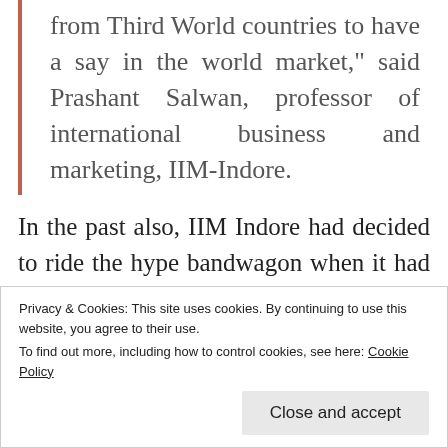of the few movies which has emerged from Third World countries to have a say in the world market," said Prashant Salwan, professor of international business and marketing, IIM-Indore.
In the past also, IIM Indore had decided to ride the hype bandwagon when it had decided to use the film Lagaan as a teaching aid in its module on leadership. Well, I have nothing against using a film for putting across concepts, it's the press release announcing this to the world that makes me feel a little 'IIPM ish', if
Privacy & Cookies: This site uses cookies. By continuing to use this website, you agree to their use. To find out more, including how to control cookies, see here: Cookie Policy